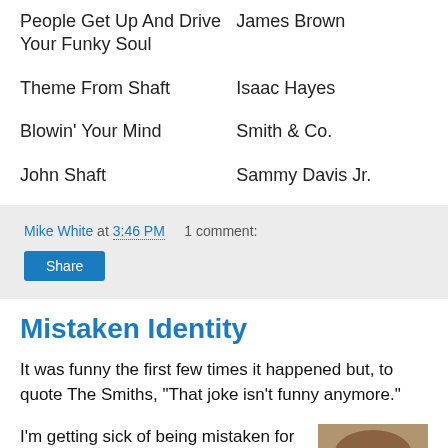| Song | Artist |
| --- | --- |
| People Get Up And Drive Your Funky Soul | James Brown |
| Theme From Shaft | Isaac Hayes |
| Blowin' Your Mind | Smith & Co. |
| John Shaft | Sammy Davis Jr. |
Mike White at 3:46 PM   1 comment:
Share
Mistaken Identity
It was funny the first few times it happened but, to quote The Smiths, "That joke isn't funny anymore."
I'm getting sick of being mistaken for people who I'm not. I continue to get fan mail in my PO Box for the Mike White who wrote CHUCK & BUCK and who is half of
[Figure (photo): Portrait photo of a man with short hair and glasses, close-up face shot]